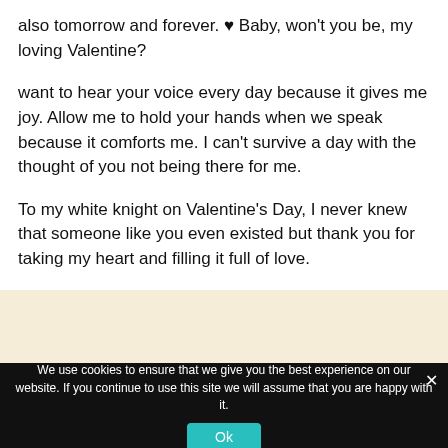also tomorrow and forever. ♥ Baby, won't you be, my loving Valentine?

want to hear your voice every day because it gives me joy. Allow me to hold your hands when we speak because it comforts me. I can't survive a day with the thought of you not being there for me.

To my white knight on Valentine's Day, I never knew that someone like you even existed but thank you for taking my heart and filling it full of love.
We use cookies to ensure that we give you the best experience on our website. If you continue to use this site we will assume that you are happy with it.